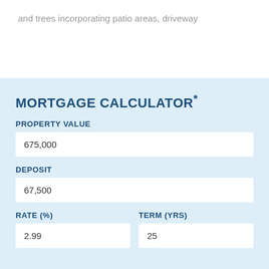and trees incorporating patio areas, driveway
MORTGAGE CALCULATOR*
PROPERTY VALUE
675,000
DEPOSIT
67,500
RATE (%)
TERM (YRS)
2.99
25